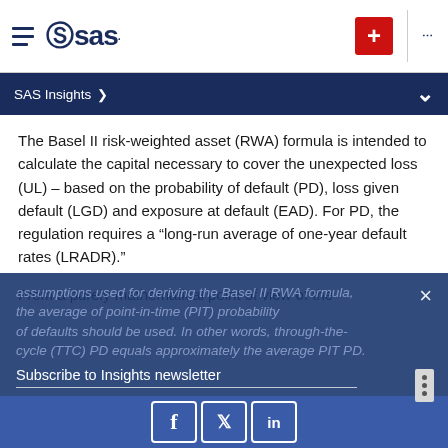SAS logo navigation bar with hamburger menu, SAS logo, plus button, and ellipsis menu
SAS Insights >
The Basel II risk-weighted asset (RWA) formula is intended to calculate the capital necessary to cover the unexpected loss (UL) – based on the probability of default (PD), loss given default (LGD) and exposure at default (EAD). For PD, the regulation requires a “long-run average of one-year default rates (LRADR).”
From a purely mathematical point of view of the assumptions used for deriving the Basel II RWA formula, the average of point-in-time (PIT) probability of defaults should be used. In other words, through-the-cycle (TTC) PD equals approximately the average PIT PD.
Subscribe to Insights newsletter
Social media links: Facebook, Twitter, LinkedIn